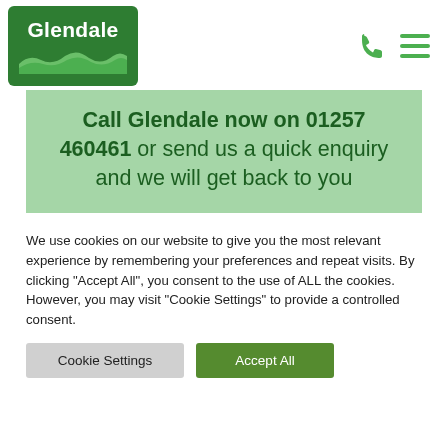[Figure (logo): Glendale logo: green rounded rectangle with white text 'Glendale' and white wave/hill graphic below]
Call Glendale now on 01257 460461 or send us a quick enquiry and we will get back to you
We use cookies on our website to give you the most relevant experience by remembering your preferences and repeat visits. By clicking "Accept All", you consent to the use of ALL the cookies. However, you may visit "Cookie Settings" to provide a controlled consent.
Cookie Settings
Accept All